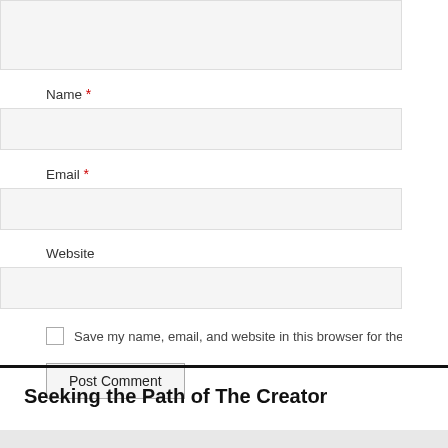Name *
Email *
Website
Save my name, email, and website in this browser for the next time I co
Post Comment
Seeking the Path of The Creator